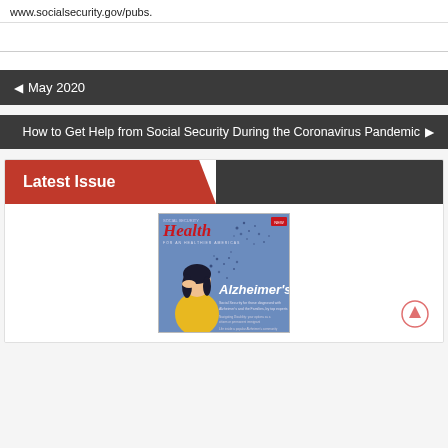www.socialsecurity.gov/pubs.
◄ May 2020
How to Get Help from Social Security During the Coronavirus Pandemic ►
[Figure (illustration): Latest Issue banner with a magazine cover showing 'Health - Alzheimer's' with a cartoon woman and scattered dots on blue background]